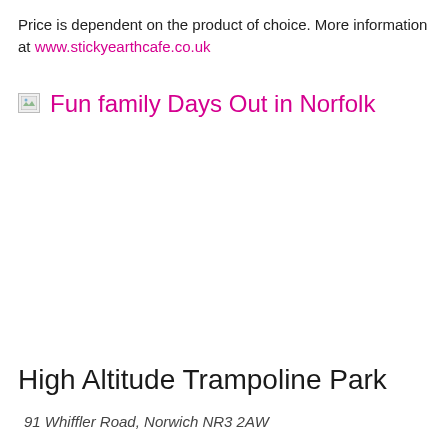Price is dependent on the product of choice. More information at www.stickyearthcafe.co.uk
[Figure (illustration): Broken image placeholder icon followed by pink text heading 'Fun family Days Out in Norfolk']
High Altitude Trampoline Park
91 Whiffler Road, Norwich NR3 2AW